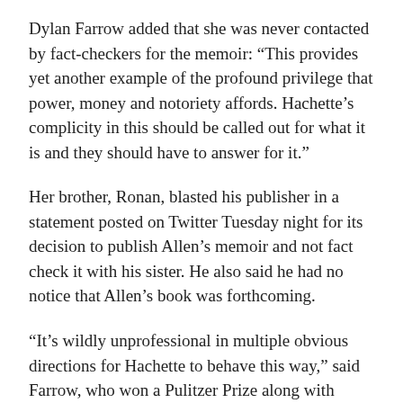Dylan Farrow added that she was never contacted by fact-checkers for the memoir: “This provides yet another example of the profound privilege that power, money and notoriety affords. Hachette’s complicity in this should be called out for what it is and they should have to answer for it.”
Her brother, Ronan, blasted his publisher in a statement posted on Twitter Tuesday night for its decision to publish Allen’s memoir and not fact check it with his sister. He also said he had no notice that Allen’s book was forthcoming.
“It’s wildly unprofessional in multiple obvious directions for Hachette to behave this way,” said Farrow, who won a Pulitzer Prize along with reporters for The New York Times for his reporting for The New Yorker on Harvey Weinstein’s sexual abuse of women.